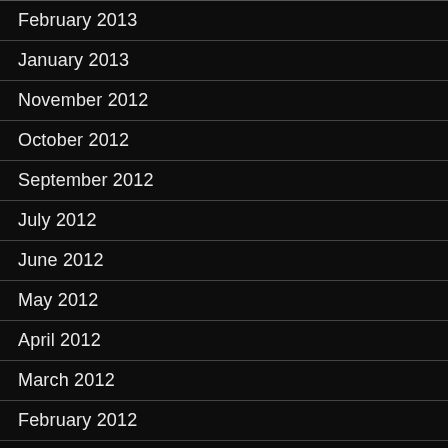February 2013
January 2013
November 2012
October 2012
September 2012
July 2012
June 2012
May 2012
April 2012
March 2012
February 2012
January 2012